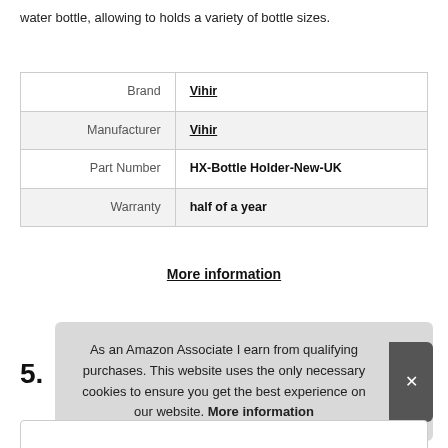water bottle, allowing to holds a variety of bottle sizes.
| Brand | Vihir |
| Manufacturer | Vihir |
| Part Number | HX-Bottle Holder-New-UK |
| Warranty | half of a year |
More information
5.
As an Amazon Associate I earn from qualifying purchases. This website uses the only necessary cookies to ensure you get the best experience on our website. More information